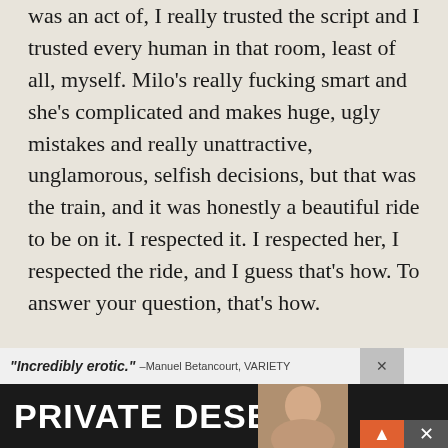was an act of, I really trusted the script and I trusted every human in that room, least of all, myself. Milo's really fucking smart and she's complicated and makes huge, ugly mistakes and really unattractive, unglamorous, selfish decisions, but that was the train, and it was honestly a beautiful ride to be on it. I respected it. I respected her, I respected the ride, and I guess that's how. To answer your question, that's how.
HtN: What got you excited about
[Figure (other): Advertisement banner at bottom of page. Text reads: "Incredibly erotic." –Manuel Betancourt, VARIETY. PRIVATE DESERT with a photo of a person and close/scroll UI buttons.]